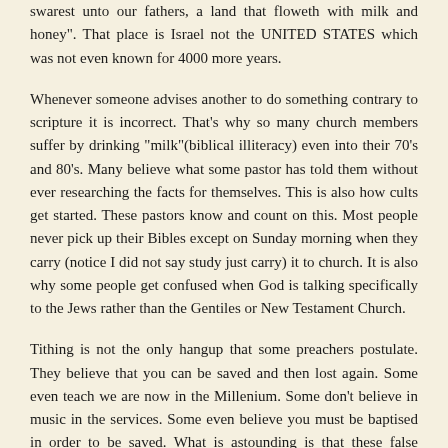swarest unto our fathers, a land that floweth with milk and honey". That place is Israel not the UNITED STATES which was not even known for 4000 more years.
Whenever someone advises another to do something contrary to scripture it is incorrect. That's why so many church members suffer by drinking "milk"(biblical illiteracy) even into their 70's and 80's. Many believe what some pastor has told them without ever researching the facts for themselves. This is also how cults get started. These pastors know and count on this. Most people never pick up their Bibles except on Sunday morning when they carry (notice I did not say study just carry) it to church. It is also why some people get confused when God is talking specifically to the Jews rather than the Gentiles or New Testament Church.
Tithing is not the only hangup that some preachers postulate. They believe that you can be saved and then lost again. Some even teach we are now in the Millenium. Some don't believe in music in the services. Some even believe you must be baptised in order to be saved. What is astounding is that these false teachers have great followings!!!
Finally, let me say this some pastors actually disagree with your pastor. So let's